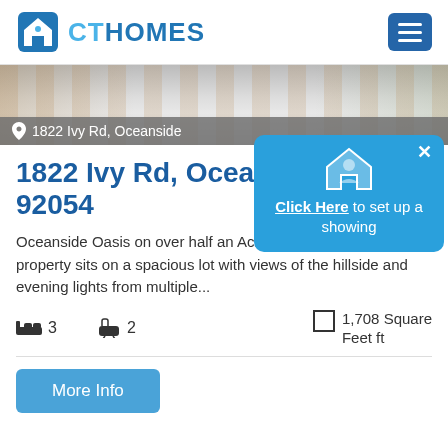CT HOMES
[Figure (photo): Exterior photo of property at 1822 Ivy Rd, Oceanside — showing partial view of driveway and landscaping]
1822 Ivy Rd, Oceanside
1822 Ivy Rd, Oceanside, 92054
Click Here to set up a showing
Oceanside Oasis on over half an Acre! This one-of-a-kind property sits on a spacious lot with views of the hillside and evening lights from multiple...
3  2  1,708 Square Feet ft
More Info